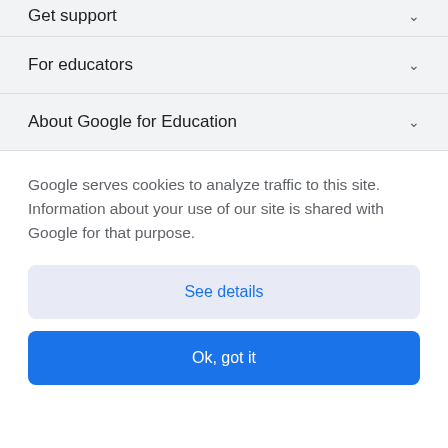Get support
For educators
About Google for Education
Google serves cookies to analyze traffic to this site. Information about your use of our site is shared with Google for that purpose.
See details
Ok, got it